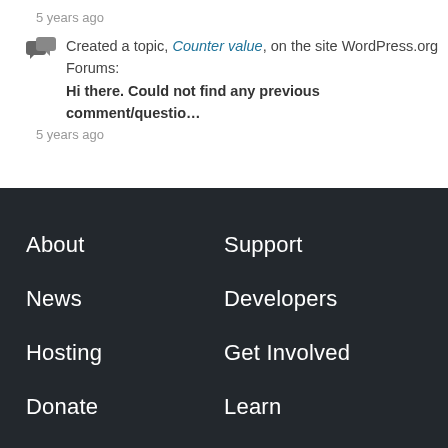5 years ago
Created a topic, Counter value, on the site WordPress.org Forums:
Hi there. Could not find any previous comment/questio…
5 years ago
About
Support
News
Developers
Hosting
Get Involved
Donate
Learn
Showcase
WordCamp